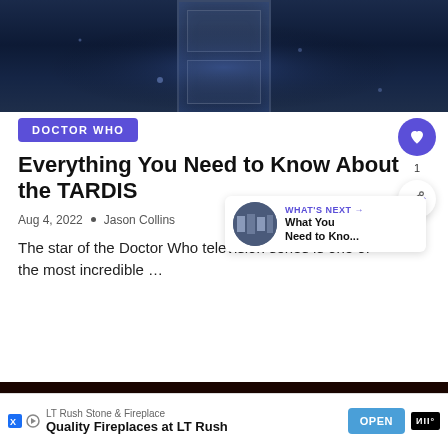[Figure (photo): Dark blue sci-fi background showing the TARDIS police box doors]
DOCTOR WHO
Everything You Need to Know About the TARDIS
Aug 4, 2022  •  Jason Collins
The star of the Doctor Who television series is one of the most incredible …
[Figure (photo): What's Next thumbnail - band photo]
WHAT'S NEXT → What You Need to Kno...
[Figure (photo): Bottom image with fire/orange tones]
LT Rush Stone & Fireplace
Quality Fireplaces at LT Rush